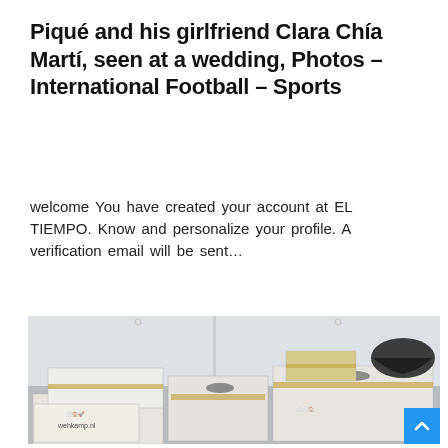Piqué and his girlfriend Clara Chía Martí, seen at a wedding, Photos – International Football – Sports
welcome You have created your account at EL TIEMPO. Know and personalize your profile. A verification email will be sent...
[Figure (photo): A room filled with multiple stacked cardboard moving boxes of various sizes, some sealed with brown tape and decorated with children's drawings. A black plastic bag sits on top of boxes in the background. A 'wehkamp.nl' branded box is visible at lower left. The room has white walls and light grey flooring.]